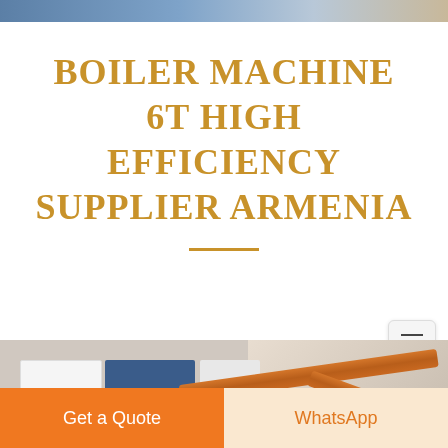BOILER MACHINE 6T HIGH EFFICIENCY SUPPLIER ARMENIA
[Figure (photo): Industrial boiler room with white and blue boiler units on the left and large orange/brown insulated pipes running diagonally across the ceiling to the right, with a yellow pipe branch visible]
Get a Quote
WhatsApp